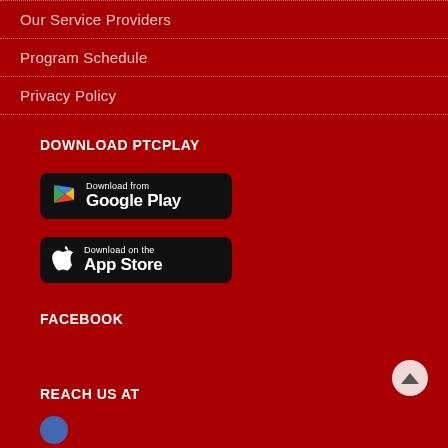Our Service Providers
Program Schedule
Privacy Policy
DOWNLOAD PTCPLAY
[Figure (logo): Download from Google Play button - black rounded rectangle with Google Play logo triangle icon]
[Figure (logo): Download on the App Store button - black rounded rectangle with Apple logo icon]
FACEBOOK
REACH US AT
[Figure (logo): Small blue circle icon at bottom left, partially visible]